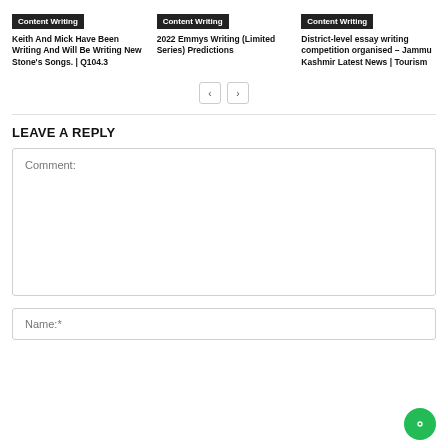Content Writing
Keith And Mick Have Been Writing And Will Be Writing New Stone's Songs. | Q104.3
Content Writing
2022 Emmys Writing (Limited Series) Predictions
Content Writing
District-level essay writing competition organised – Jammu Kashmir Latest News | Tourism
LEAVE A REPLY
Comment:
Name:*